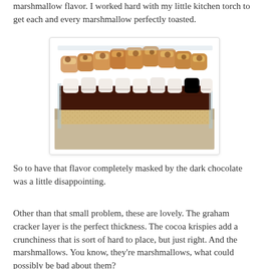marshmallow flavor. I worked hard with my little kitchen torch to get each and every marshmallow perfectly toasted.
[Figure (photo): Close-up photo of a layered s'mores dessert in a glass baking dish, showing toasted marshmallows on top, a dark chocolate layer in the middle, and a graham cracker/cocoa krispies base at the bottom.]
So to have that flavor completely masked by the dark chocolate was a little disappointing.
Other than that small problem, these are lovely. The graham cracker layer is the perfect thickness. The cocoa krispies add a crunchiness that is sort of hard to place, but just right. And the marshmallows. You know, they're marshmallows, what could possibly be bad about them?